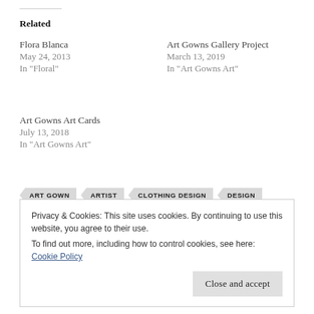Related
Flora Blanca
May 24, 2013
In "Floral"
Art Gowns Gallery Project
March 13, 2019
In "Art Gowns Art"
Art Gowns Art Cards
July 13, 2018
In "Art Gowns Art"
ART GOWN
ARTIST
CLOTHING DESIGN
DESIGN
DESIGNER
FABRIC
FABRICS
FLORAL
Privacy & Cookies: This site uses cookies. By continuing to use this website, you agree to their use.
To find out more, including how to control cookies, see here: Cookie Policy
Close and accept